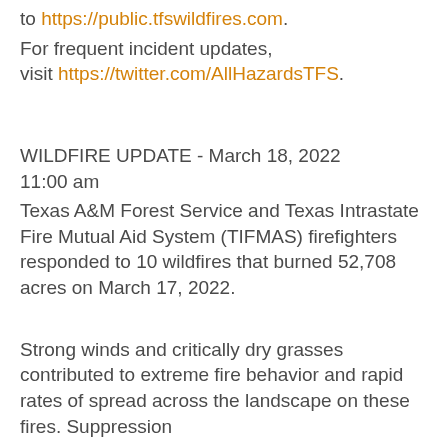to https://public.tfswildfires.com.
For frequent incident updates, visit https://twitter.com/AllHazardsTFS.
WILDFIRE UPDATE - March 18, 2022 11:00 am
Texas A&M Forest Service and Texas Intrastate Fire Mutual Aid System (TIFMAS) firefighters responded to 10 wildfires that burned 52,708 acres on March 17, 2022.
Strong winds and critically dry grasses contributed to extreme fire behavior and rapid rates of spread across the landscape on these fires. Suppression